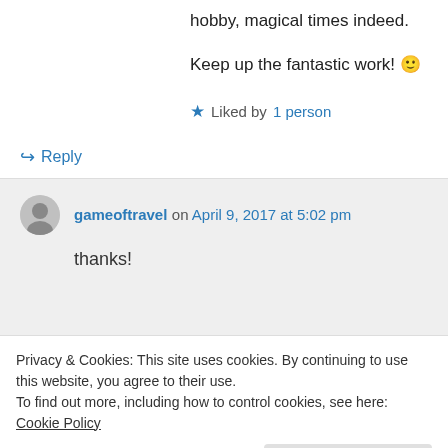back to 7th edition when I first started joining this hobby, magical times indeed.
Keep up the fantastic work! 🙂
★ Liked by 1 person
↪ Reply
gameoftravel on April 9, 2017 at 5:02 pm
thanks!
Privacy & Cookies: This site uses cookies. By continuing to use this website, you agree to their use.
To find out more, including how to control cookies, see here: Cookie Policy
Close and accept